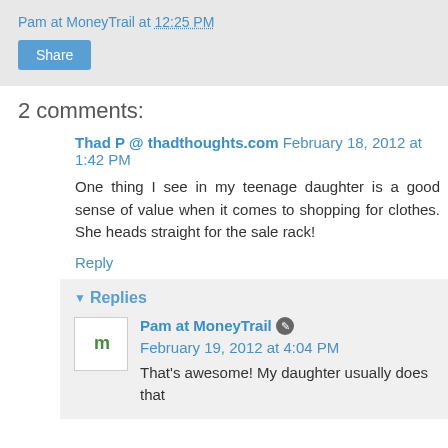Pam at MoneyTrail at 12:25 PM
Share
2 comments:
Thad P @ thadthoughts.com February 18, 2012 at 1:42 PM
One thing I see in my teenage daughter is a good sense of value when it comes to shopping for clothes. She heads straight for the sale rack!
Reply
▼ Replies
Pam at MoneyTrail February 19, 2012 at 4:04 PM
That's awesome! My daughter usually does that